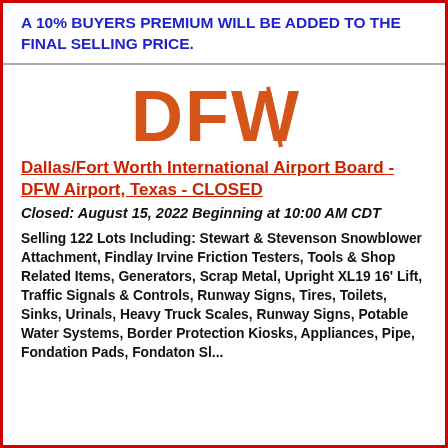A 10% BUYERS PREMIUM WILL BE ADDED TO THE FINAL SELLING PRICE.
[Figure (logo): DFW logo in orange/red stylized text]
Dallas/Fort Worth International Airport Board - DFW Airport, Texas - CLOSED
Closed: August 15, 2022 Beginning at 10:00 AM CDT
Selling 122 Lots Including: Stewart & Stevenson Snowblower Attachment, Findlay Irvine Friction Testers, Tools & Shop Related Items, Generators, Scrap Metal, Upright XL19 16' Lift, Traffic Signals & Controls, Runway Signs, Tires, Toilets, Sinks, Urinals, Heavy Truck Scales, Runway Signs, Potable Water Systems, Border Protection Kiosks, Appliances, Pipe, Fondation Pads, Fondation Slime...